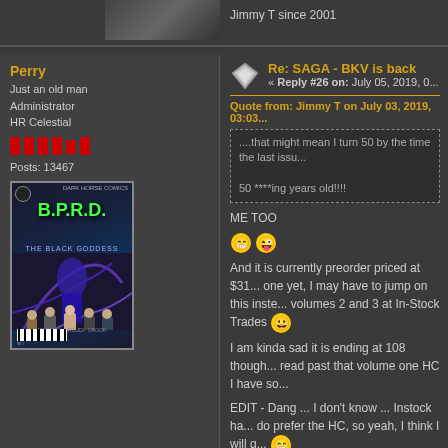Jimmy T since 2001
Perry
Just an old man
Administrator
HR Celestial
Posts: 13467
[Figure (illustration): B.P.R.D. The Black Goddess comic book cover]
Re: SAGA - BKV is back
« Reply #26 on: July 05, 2019, 0...
Quote from: Jimmy T on July 03, 2019, 03:03...
....that might mean I turn 50 by the time the last issu...
50 ****ing years old!!!!
ME TOO
And it is currently preorder priced at $31... one yet, I may have to jump on this inste... volumes 2 and 3 at In-Stock Trades
I am kinda sad it is ending at 108 though... read past that volume one HC I have so...
EDIT - Dang ... I don't know ... Instock ha... do prefer the HC, so yeah, I think I will g...